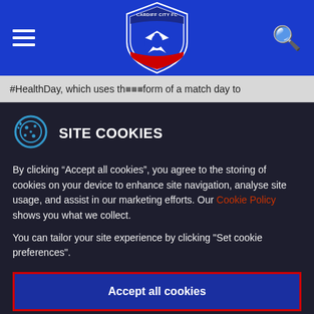[Figure (logo): Cardiff City FC shield logo with blue and white crest, bird emblem, centered in blue navigation header bar]
#HealthDay, which uses the platform of a match day to
SITE COOKIES
By clicking “Accept all cookies”, you agree to the storing of cookies on your device to enhance site navigation, analyse site usage, and assist in our marketing efforts. Our Cookie Policy shows you what we collect.
You can tailor your site experience by clicking "Set cookie preferences".
Accept all cookies
Set Cookie Preferences